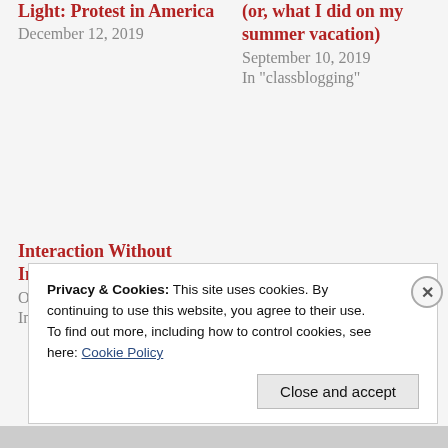Light: Protest in America
December 12, 2019
(or, what I did on my summer vacation)
September 10, 2019
In "classblogging"
Interaction Without Interactivity
October 16, 2018
In "classblogging"
Privacy & Cookies: This site uses cookies. By continuing to use this website, you agree to their use.
To find out more, including how to control cookies, see here: Cookie Policy
Close and accept